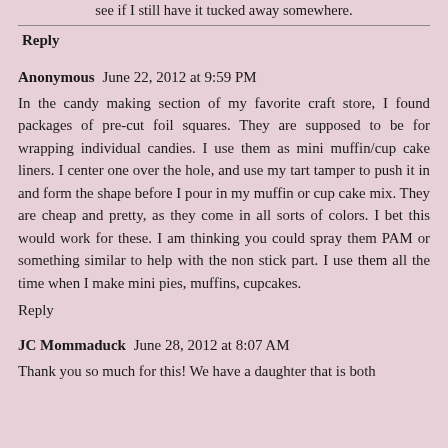see if I still have it tucked away somewhere.
Reply
Anonymous  June 22, 2012 at 9:59 PM
In the candy making section of my favorite craft store, I found packages of pre-cut foil squares. They are supposed to be for wrapping individual candies. I use them as mini muffin/cup cake liners. I center one over the hole, and use my tart tamper to push it in and form the shape before I pour in my muffin or cup cake mix. They are cheap and pretty, as they come in all sorts of colors. I bet this would work for these. I am thinking you could spray them PAM or something similar to help with the non stick part. I use them all the time when I make mini pies, muffins, cupcakes.
Reply
JC Mommaduck  June 28, 2012 at 8:07 AM
Thank you so much for this! We have a daughter that is both